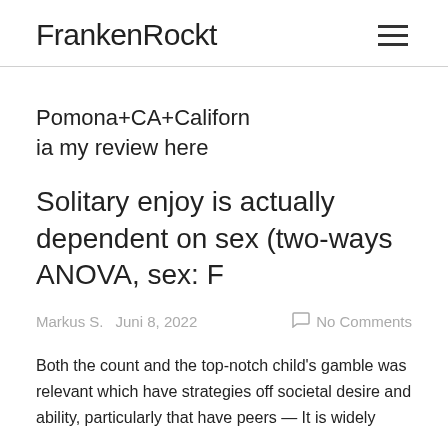FrankenRockt
Pomona+CA+California my review here
Solitary enjoy is actually dependent on sex (two-ways ANOVA, sex: F
Markus S.   Juni 8, 2022   No Comments
Both the count and the top-notch child's gamble was relevant which have strategies off societal desire and ability, particularly that have peers — It is widely